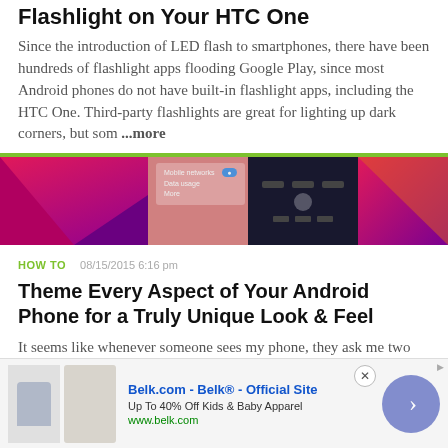Flashlight on Your HTC One
Since the introduction of LED flash to smartphones, there have been hundreds of flashlight apps flooding Google Play, since most Android phones do not have built-in flashlight apps, including the HTC One. Third-party flashlights are great for lighting up dark corners, but som …more
[Figure (screenshot): Screenshots of Android phone UI showing settings and themes with pink/purple gradient backgrounds]
HOW TO
08/15/2015 6:16 pm
Theme Every Aspect of Your Android Phone for a Truly Unique Look & Feel
It seems like whenever someone sees my phone, they ask me two questions right off the bat; "What phone is that?" and "How did you get your Android to look like that?" The
Belk.com - Belk® - Official Site
Up To 40% Off Kids & Baby Apparel
www.belk.com